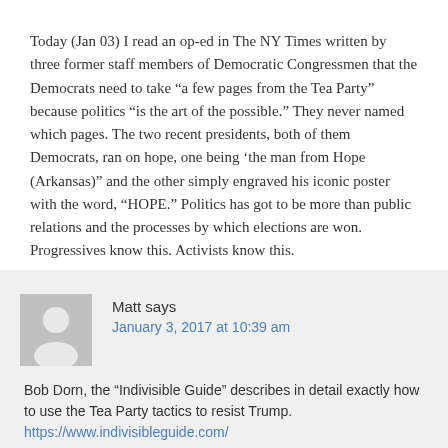Today (Jan 03) I read an op-ed in The NY Times written by three former staff members of Democratic Congressmen that the Democrats need to take “a few pages from the Tea Party” because politics “is the art of the possible.” They never named which pages. The two recent presidents, both of them Democrats, ran on hope, one being ‘the man from Hope (Arkansas)” and the other simply engraved his iconic poster with the word, “HOPE.” Politics has got to be more than public relations and the processes by which elections are won. Progressives know this. Activists know this.
Matt says
January 3, 2017 at 10:39 am
Bob Dorn, the “Indivisible Guide” describes in detail exactly how to use the Tea Party tactics to resist Trump. https://www.indivisibleguide.com/